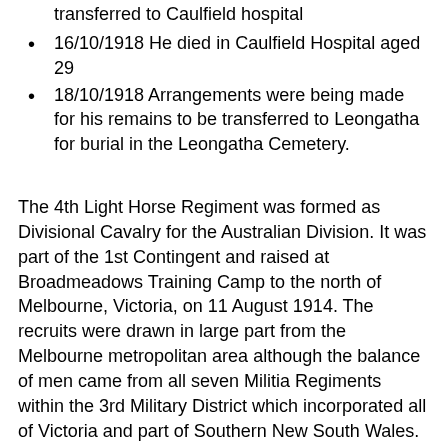transferred to Caulfield hospital
16/10/1918 He died in Caulfield Hospital aged 29
18/10/1918 Arrangements were being made for his remains to be transferred to Leongatha for burial in the Leongatha Cemetery.
The 4th Light Horse Regiment was formed as Divisional Cavalry for the Australian Division. It was part of the 1st Contingent and raised at Broadmeadows Training Camp to the north of Melbourne, Victoria, on 11 August 1914. The recruits were drawn in large part from the Melbourne metropolitan area although the balance of men came from all seven Militia Regiments within the 3rd Military District which incorporated all of Victoria and part of Southern New South Wales. The men from New South Wales found themselves mainly in "C" Squadron. Many of the men went from the Light Horse Militia formation into the AIF Light Horse.